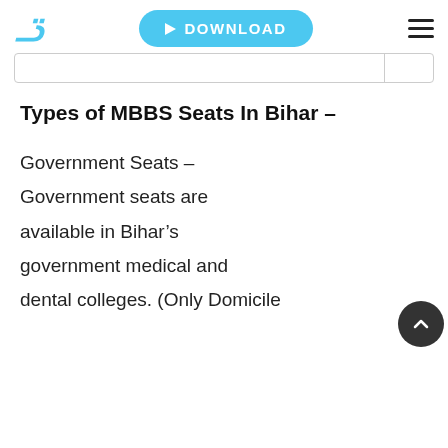DOWNLOAD
Types of MBBS Seats In Bihar –
Government Seats – Government seats are available in Bihar's government medical and dental colleges. (Only Domicile